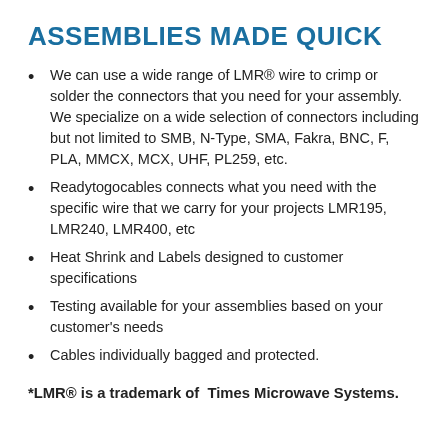ASSEMBLIES MADE QUICK
We can use a wide range of LMR® wire to crimp or solder the connectors that you need for your assembly. We specialize on a wide selection of connectors including but not limited to SMB, N-Type, SMA, Fakra, BNC, F, PLA, MMCX, MCX, UHF, PL259, etc.
Readytogocables connects what you need with the specific wire that we carry for your projects LMR195, LMR240, LMR400, etc
Heat Shrink and Labels designed to customer specifications
Testing available for your assemblies based on your customer's needs
Cables individually bagged and protected.
*LMR® is a trademark of Times Microwave Systems.